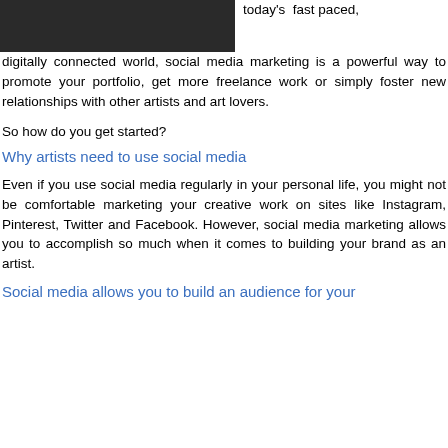[Figure (photo): Dark photograph showing a person, partially cropped at top of page]
today's fast paced, digitally connected world, social media marketing is a powerful way to promote your portfolio, get more freelance work or simply foster new relationships with other artists and art lovers.
So how do you get started?
Why artists need to use social media
Even if you use social media regularly in your personal life, you might not be comfortable marketing your creative work on sites like Instagram, Pinterest, Twitter and Facebook. However, social media marketing allows you to accomplish so much when it comes to building your brand as an artist.
Social media allows you to build an audience for your